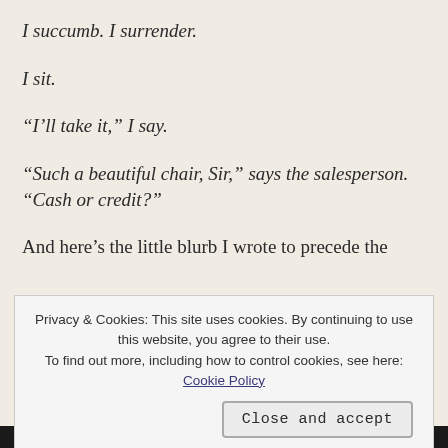I succumb. I surrender.
I sit.
“I’ll take it,” I say.
“Such a beautiful chair, Sir,” says the salesperson. “Cash or credit?”
And here’s the little blurb I wrote to precede the
Privacy & Cookies: This site uses cookies. By continuing to use this website, you agree to their use. To find out more, including how to control cookies, see here: Cookie Policy
Close and accept